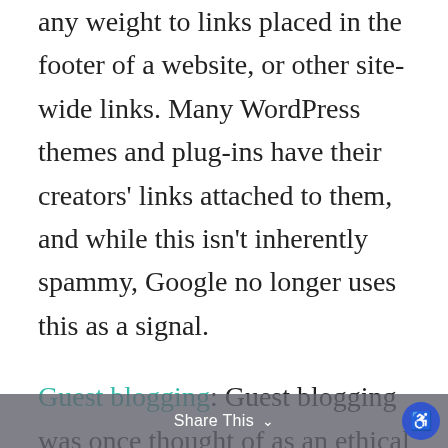any weight to links placed in the footer of a website, or other site-wide links. Many WordPress themes and plug-ins have their creators' links attached to them, and while this isn't inherently spammy, Google no longer uses this as a signal.
Guest blogging: Guest blogging was once thought of as an ethical SEO tactic to generate relevant content, drive people to your site, network, and build
Share This